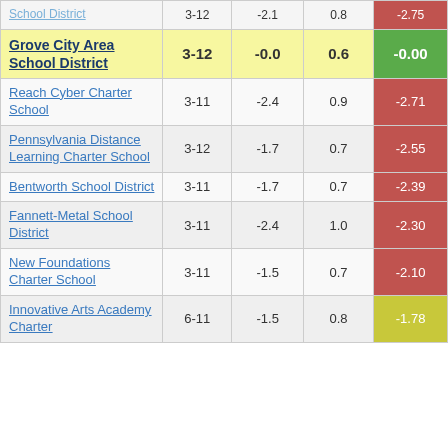| School | Grades | Col3 | Col4 | Score |
| --- | --- | --- | --- | --- |
| School District | 3-12 | -2.1 | 0.8 | -2.75 |
| Grove City Area School District | 3-12 | -0.0 | 0.6 | -0.00 |
| Reach Cyber Charter School | 3-11 | -2.4 | 0.9 | -2.71 |
| Pennsylvania Distance Learning Charter School | 3-12 | -1.7 | 0.7 | -2.55 |
| Bentworth School District | 3-11 | -1.7 | 0.7 | -2.39 |
| Fannett-Metal School District | 3-11 | -2.4 | 1.0 | -2.30 |
| New Foundations Charter School | 3-11 | -1.5 | 0.7 | -2.10 |
| Innovative Arts Academy Charter | 6-11 | -1.5 | 0.8 | -1.78 |